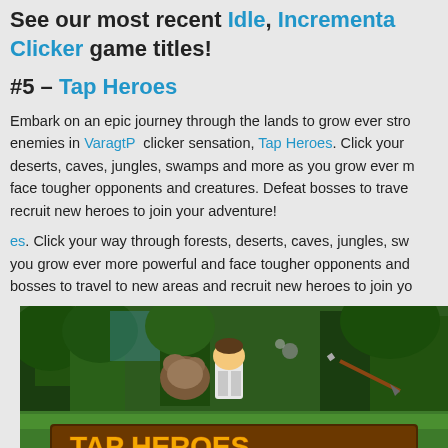See our most recent Idle, Incremental, Clicker game titles!
#5 – Tap Heroes
Embark on an epic journey through the lands to grow ever stronger and crush your enemies in VaragtP clicker sensation, Tap Heroes. Click your way through forests, deserts, caves, jungles, swamps and more as you grow ever more powerful and face tougher opponents and creatures. Defeat bosses to travel to new areas and recruit new heroes to join your adventure!
es. Click your way through forests, deserts, caves, jungles, swamps and more as you grow ever more powerful and face tougher opponents and creatures. Defeat bosses to travel to new areas and recruit new heroes to join your adventure!
[Figure (screenshot): Tap Heroes game screenshot showing pixel art forest scene with a character and the 'TAP HEROES' title logo at the bottom]